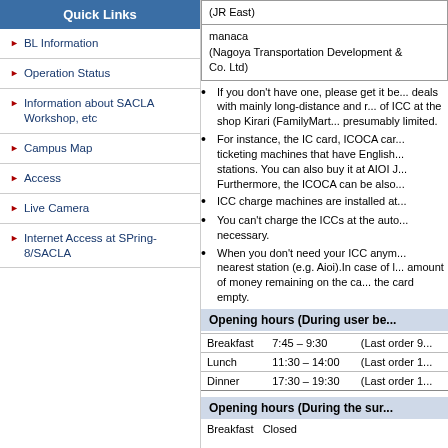| (JR East) |
| manaca
(Nagoya Transportation Development & Co. Ltd) |
Quick Links
BL Information
Operation Status
Information about SACLA Workshop, etc
Campus Map
Access
Live Camera
Internet Access at SPring-8/SACLA
If you don't have one, please get it be... deals with mainly long-distance and r... of ICC at the shop Kirari (FamilyMart... presumably limited.
For instance, the IC card, ICOCA car... ticketing machines that have English... stations. You can also buy it at AIOI J... Furthermore, the ICOCA can be also...
ICC charge machines are installed at...
You can't charge the ICCs at the auto... necessary.
When you don't need your ICC anym... nearest station (e.g. Aioi).In case of l... amount of money remaining on the ca... the card empty.
Opening hours (During user be...
| Meal | Hours | Last order |
| --- | --- | --- |
| Breakfast | 7:45 – 9:30 | (Last order 9... |
| Lunch | 11:30 – 14:00 | (Last order 1... |
| Dinner | 17:30 – 19:30 | (Last order 1... |
Opening hours (During the sur...
Breakfast  Closed